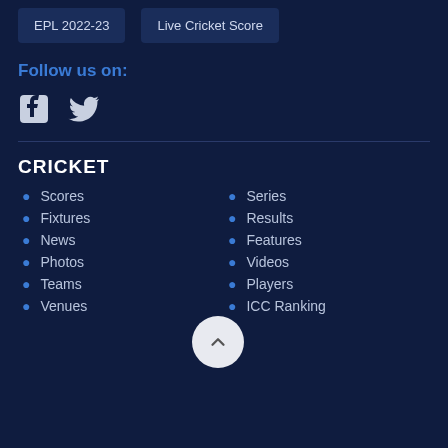EPL 2022-23
Live Cricket Score
Follow us on:
[Figure (other): Facebook and Twitter social media icons]
CRICKET
Scores
Series
Fixtures
Results
News
Features
Photos
Videos
Teams
Players
Venues
ICC Ranking